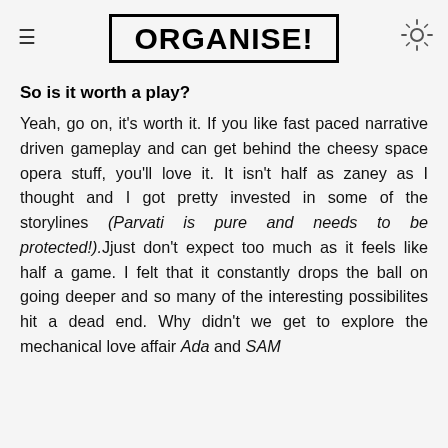ORGANISE!
So is it worth a play?
Yeah, go on, it's worth it. If you like fast paced narrative driven gameplay and can get behind the cheesy space opera stuff, you'll love it. It isn't half as zaney as I thought and I got pretty invested in some of the storylines (Parvati is pure and needs to be protected!). Jjust don't expect too much as it feels like half a game. I felt that it constantly drops the ball on going deeper and so many of the interesting possibilites hit a dead end. Why didn't we get to explore the mechanical love affair Ada and SAM